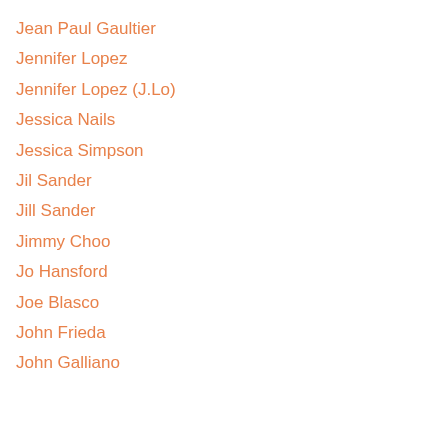Jean Paul Gaultier
Jennifer Lopez
Jennifer Lopez (J.Lo)
Jessica Nails
Jessica Simpson
Jil Sander
Jill Sander
Jimmy Choo
Jo Hansford
Joe Blasco
John Frieda
John Galliano